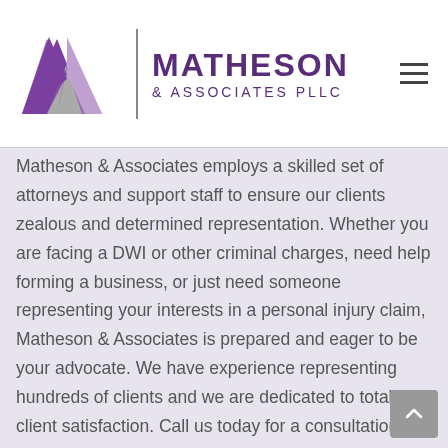Matheson & Associates PLLC
Matheson & Associates employs a skilled set of attorneys and support staff to ensure our clients zealous and determined representation. Whether you are facing a DWI or other criminal charges, need help forming a business, or just need someone representing your interests in a personal injury claim, Matheson & Associates is prepared and eager to be your advocate. We have experience representing hundreds of clients and we are dedicated to total client satisfaction. Call us today for a consultation and find out why so many trust Matheson & Associates to represent their legal needs.